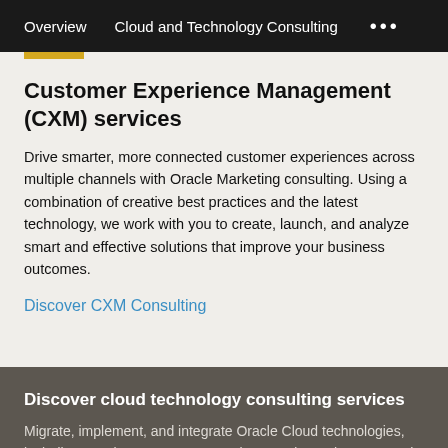Overview   Cloud and Technology Consulting   ...
Customer Experience Management (CXM) services
Drive smarter, more connected customer experiences across multiple channels with Oracle Marketing consulting. Using a combination of creative best practices and the latest technology, we work with you to create, launch, and analyze smart and effective solutions that improve your business outcomes.
Discover CXM Consulting
Discover cloud technology consulting services
Migrate, implement, and integrate Oracle Cloud technologies, including Oracle Autonomous Database and Warehouse, Oracle Cloud Infrastructure (OCI), and Oracle workloads.